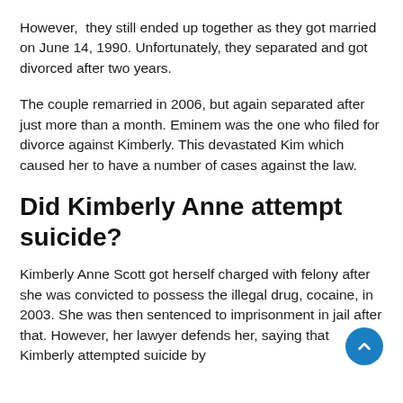However,  they still ended up together as they got married on June 14, 1990. Unfortunately, they separated and got divorced after two years.
The couple remarried in 2006, but again separated after just more than a month. Eminem was the one who filed for divorce against Kimberly. This devastated Kim which caused her to have a number of cases against the law.
Did Kimberly Anne attempt suicide?
Kimberly Anne Scott got herself charged with felony after she was convicted to possess the illegal drug, cocaine, in 2003. She was then sentenced to imprisonment in jail after that. However, her lawyer defends her, saying that Kimberly attempted suicide by